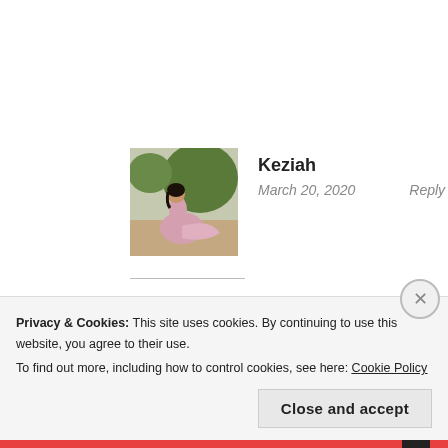[Figure (photo): Avatar photo of Keziah in a pink/mauve dress outdoors with greenery in the background]
Keziah
March 20, 2020   Reply
Thanks!
★ Like
Privacy & Cookies: This site uses cookies. By continuing to use this website, you agree to their use.
To find out more, including how to control cookies, see here: Cookie Policy
Close and accept